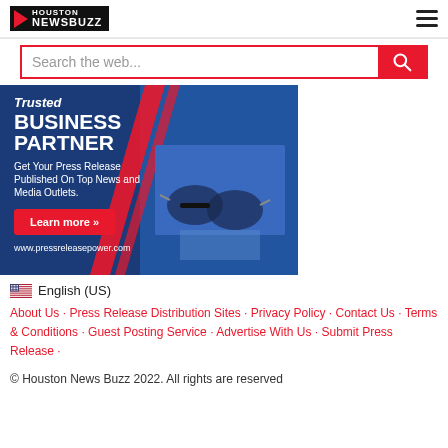[Figure (logo): Houston NewsBuzz logo with red play button triangle and black background, with hamburger menu icon on the right]
Search the web...
[Figure (infographic): Banner advertisement for pressreleasepower.com. Blue background with text: Trusted BUSINESS PARTNER. Get Your Press Release Published On Top News and Media Outlets. Learn more >> button. www.pressreleasepower.com. Right side shows a photo of glasses and business documents.]
English (US)
About Us · Press Release Distribution Sites · Privacy Policy · Contact Us · Terms & Conditions · Guest Posting Service · Advertise With Us · Submit Press Release ·
© Houston News Buzz 2022. All rights are reserved